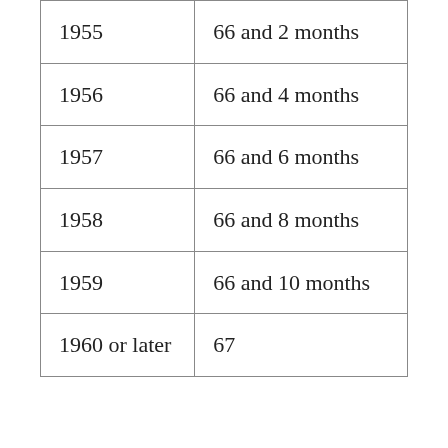| 1955 | 66 and 2 months |
| 1956 | 66 and 4 months |
| 1957 | 66 and 6 months |
| 1958 | 66 and 8 months |
| 1959 | 66 and 10 months |
| 1960 or later | 67 |